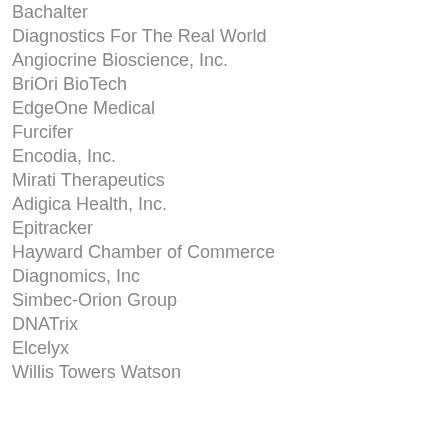Bachalter
Diagnostics For The Real World
Angiocrine Bioscience, Inc.
BriOri BioTech
EdgeOne Medical
Furcifer
Encodia, Inc.
Mirati Therapeutics
Adigica Health, Inc.
Epitracker
Hayward Chamber of Commerce
Diagnomics, Inc
Simbec-Orion Group
DNATrix
Elcelyx
Willis Towers Watson